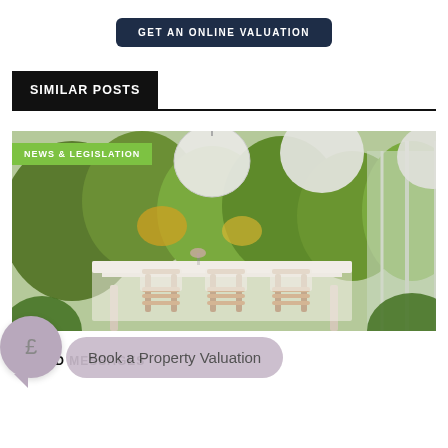GET AN ONLINE VALUATION
SIMILAR POSTS
[Figure (photo): Outdoor garden dining table with wooden chairs, white table cloth set for an event, large white paper lanterns hanging above, lush green garden background]
NEWS & LEGISLATION
Book a Property Valuation
RT:
MIXED MESSAGES